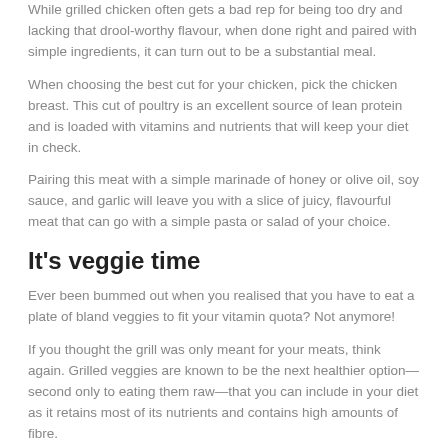While grilled chicken often gets a bad rep for being too dry and lacking that drool-worthy flavour, when done right and paired with simple ingredients, it can turn out to be a substantial meal.
When choosing the best cut for your chicken, pick the chicken breast. This cut of poultry is an excellent source of lean protein and is loaded with vitamins and nutrients that will keep your diet in check.
Pairing this meat with a simple marinade of honey or olive oil, soy sauce, and garlic will leave you with a slice of juicy, flavourful meat that can go with a simple pasta or salad of your choice.
It's veggie time
Ever been bummed out when you realised that you have to eat a plate of bland veggies to fit your vitamin quota? Not anymore!
If you thought the grill was only meant for your meats, think again. Grilled veggies are known to be the next healthier option—second only to eating them raw—that you can include in your diet as it retains most of its nutrients and contains high amounts of fibre.
Still not convinced that they can be delicious?
That's because you are not considering the number of grilling options out there.